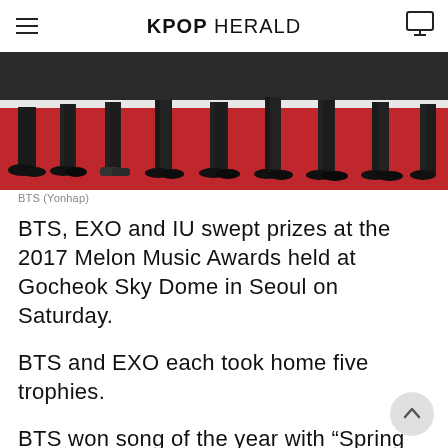KPOP HERALD
[Figure (photo): Feet and legs of multiple people (likely BTS members) standing on a red carpet, wearing dark formal attire and dress shoes]
BTS (Yonhap)
BTS, EXO and IU swept prizes at the 2017 Melon Music Awards held at Gocheok Sky Dome in Seoul on Saturday.
BTS and EXO each took home five trophies.
BTS won song of the year with “Spring Day” from the repackaged version of its second studio album “Wings: You Never Walk Alone.